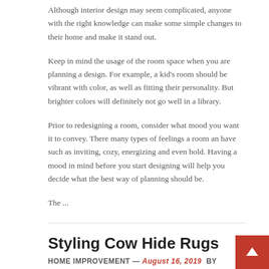Although interior design may seem complicated, anyone with the right knowledge can make some simple changes to their home and make it stand out.
Keep in mind the usage of the room space when you are planning a design. For example, a kid's room should be vibrant with color, as well as fitting their personality. But brighter colors will definitely not go well in a library.
Prior to redesigning a room, consider what mood you want it to convey. There many types of feelings a room an have such as inviting, cozy, energizing and even bold. Having a mood in mind before you start designing will help you decide what the best way of planning should be.
The ...
Styling Cow Hide Rugs
HOME IMPROVEMENT — August 16, 2019  by